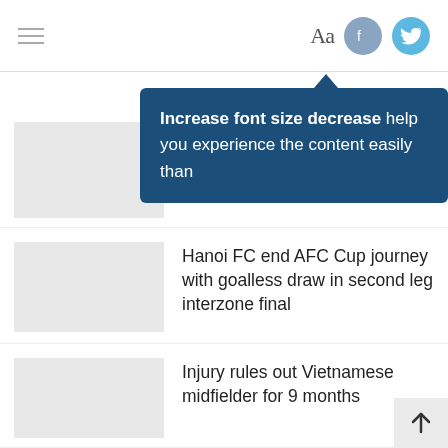Aa [font size control] [Facebook] [Twitter]
[Figure (screenshot): Tooltip popup showing 'Increase font size decrease help you experience the content easily than' over a dark blue background]
[Figure (photo): Thumbnail placeholder (grey box) for first news article]
Malaysia ... year, says...
[Figure (photo): Thumbnail placeholder (grey box) for second news article]
Hanoi FC end AFC Cup journey with goalless draw in second leg interzone final
[Figure (photo): Thumbnail placeholder (grey box) for third news article]
Injury rules out Vietnamese midfielder for 9 months
[Figure (photo): Thumbnail placeholder (grey box) for fourth news article]
[skeleton placeholder lines]